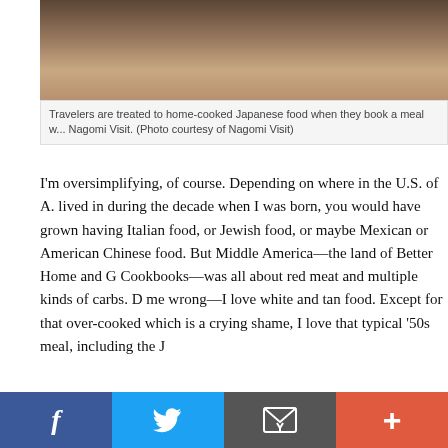[Figure (photo): Photo of travelers being served home-cooked Japanese food at Nagomi Visit, showing hands and a wooden tray.]
Travelers are treated to home-cooked Japanese food when they book a meal with Nagomi Visit. (Photo courtesy of Nagomi Visit)
I'm oversimplifying, of course. Depending on where in the U.S. of A. you lived in during the decade when I was born, you would have grown up having Italian food, or Jewish food, or maybe Mexican or American Chinese food. But Middle America—the land of Better Home and Gardens Cookbooks—was all about red meat and multiple kinds of carbs. Don't get me wrong—I love white and tan food. Except for that over-cooked green, which is a crying shame, I love that typical '50s meal, including the J...
But for 2013, I'm sure glad that Americans have a much wider appreciation for ethnic cuisine, from Italian and Mexican to Chinese, Korean, and...
I grew up eating Japanese food, naturally. My mom cooked Japanese food for herself even if she cooked spaghetti, or steak, for the rest of us. So we had rice every night, even if we had pasta, mom made rice and always had a serving on the side alongside my noodles. But mostly, my br... and I grew up eating my mom's home-cooked Japanese food. Whe...
f  Twitter  Email  +